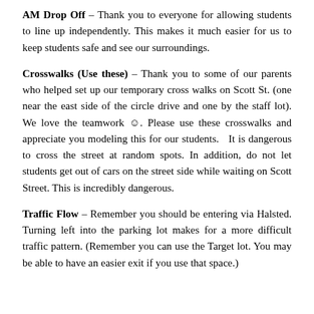AM Drop Off – Thank you to everyone for allowing students to line up independently. This makes it much easier for us to keep students safe and see our surroundings.
Crosswalks (Use these) – Thank you to some of our parents who helped set up our temporary cross walks on Scott St. (one near the east side of the circle drive and one by the staff lot). We love the teamwork ☺. Please use these crosswalks and appreciate you modeling this for our students. It is dangerous to cross the street at random spots. In addition, do not let students get out of cars on the street side while waiting on Scott Street. This is incredibly dangerous.
Traffic Flow – Remember you should be entering via Halsted. Turning left into the parking lot makes for a more difficult traffic pattern. (Remember you can use the Target lot. You may be able to have an easier exit if you use that space.)